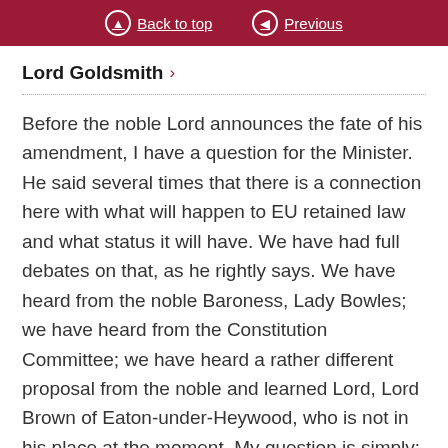Back to top | Previous
Lord Goldsmith >
Before the noble Lord announces the fate of his amendment, I have a question for the Minister. He said several times that there is a connection here with what will happen to EU retained law and what status it will have. We have had full debates on that, as he rightly says. We have heard from the noble Baroness, Lady Bowles; we have heard from the Constitution Committee; we have heard a rather different proposal from the noble and learned Lord, Lord Brown of Eaton-under-Heywood, who is not in his place at the moment. My question is simply: when will we know what the Government’s decision is? I hope that they will not stick—because they